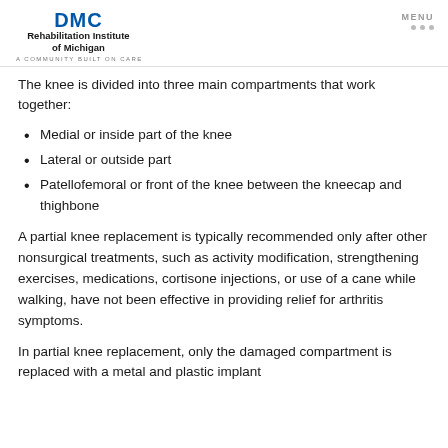DMC Rehabilitation Institute of Michigan — A COMMUNITY BUILT ON CARE | MENU
The knee is divided into three main compartments that work together:
Medial or inside part of the knee
Lateral or outside part
Patellofemoral or front of the knee between the kneecap and thighbone
A partial knee replacement is typically recommended only after other nonsurgical treatments, such as activity modification, strengthening exercises, medications, cortisone injections, or use of a cane while walking, have not been effective in providing relief for arthritis symptoms.
In partial knee replacement, only the damaged compartment is replaced with a metal and plastic implant